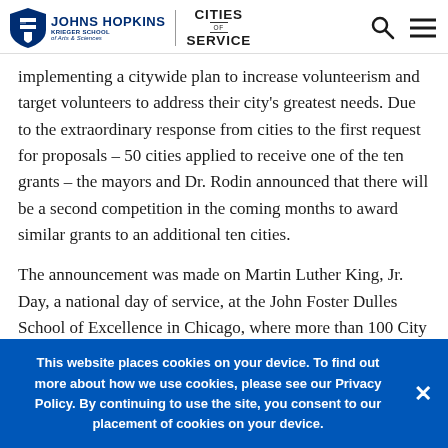Johns Hopkins Krieger School of Arts & Sciences | Cities of Service
implementing a citywide plan to increase volunteerism and target volunteers to address their city's greatest needs. Due to the extraordinary response from cities to the first request for proposals – 50 cities applied to receive one of the ten grants – the mayors and Dr. Rodin announced that there will be a second competition in the coming months to award similar grants to an additional ten cities.
The announcement was made on Martin Luther King, Jr. Day, a national day of service, at the John Foster Dulles School of Excellence in Chicago, where more than 100 City Year Chicago high school students spent the day off painting hallways and murals, and re-organizing
This website places cookies on your device. To find out more about how we use cookies, please see our Privacy Policy. By continuing to use the site, you consent to our placement of cookies on your device.